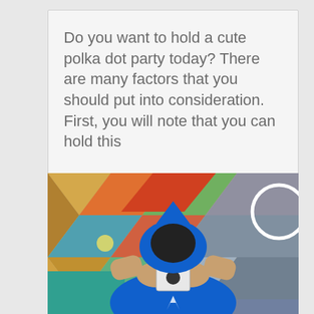Do you want to hold a cute polka dot party today? There are many factors that you should put into consideration. First, you will note that you can hold this
READ MORE ›
[Figure (photo): Person in a blue hoodie holding a playing card in front of their face, standing in front of a colorful geometric mural background]